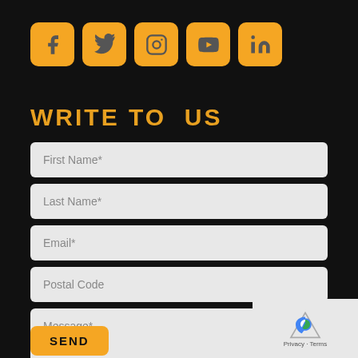[Figure (infographic): Five social media icon buttons (Facebook, Twitter, Instagram, YouTube, LinkedIn) with golden/amber rounded square backgrounds and gray icons.]
WRITE TO US
First Name*
Last Name*
Email*
Postal Code
Message*
SEND
[Figure (logo): reCAPTCHA badge with blue and white icon and Privacy - Terms text]